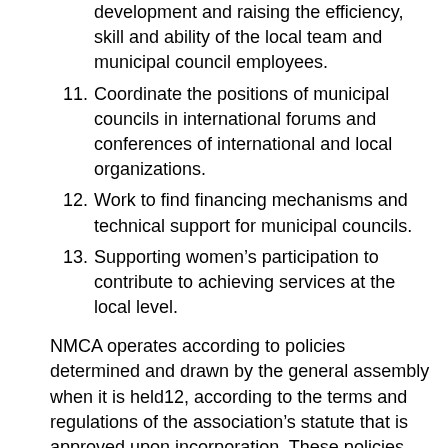development and raising the efficiency, skill and ability of the local team and municipal council employees.
11. Coordinate the positions of municipal councils in international forums and conferences of international and local organizations.
12. Work to find financing mechanisms and technical support for municipal councils.
13. Supporting women’s participation to contribute to achieving services at the local level.
NMCA operates according to policies determined and drawn by the general assembly when it is held12, according to the terms and regulations of the association’s statute that is approved upon incorporation. These policies are implemented by the General Secretariat, which is the executive body of the Association.
The Association also seeks independence, in spite of